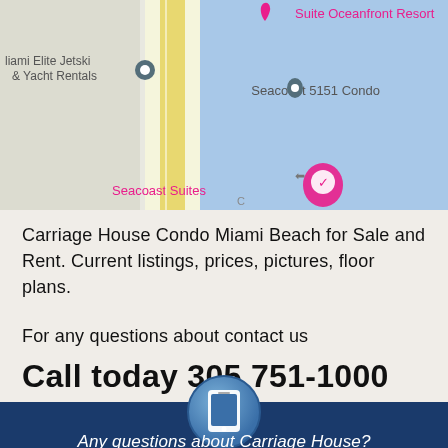[Figure (screenshot): Google Maps screenshot showing Miami Beach area with markers for Miami Elite Jetski & Yacht Rentals, Seacoast 5151 Condo, Seacoast Suites, and Suite Oceanfront Resort. Map shows a coastal area with blue water and yellow roadway.]
Carriage House Condo Miami Beach for Sale and Rent. Current listings, prices, pictures, floor plans.
For any questions about contact us
Call today 305 751-1000
[Figure (illustration): Blue circular icon with white smartphone/tablet icon inside, centered above the footer.]
Any questions about Carriage House?